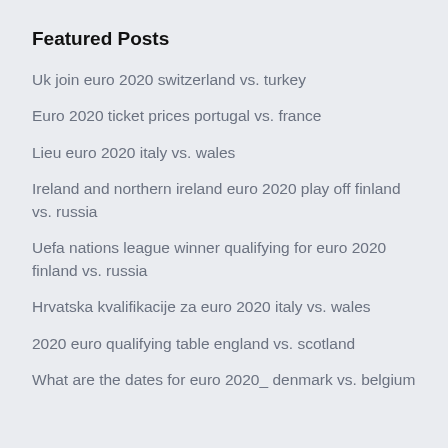Featured Posts
Uk join euro 2020 switzerland vs. turkey
Euro 2020 ticket prices portugal vs. france
Lieu euro 2020 italy vs. wales
Ireland and northern ireland euro 2020 play off finland vs. russia
Uefa nations league winner qualifying for euro 2020 finland vs. russia
Hrvatska kvalifikacije za euro 2020 italy vs. wales
2020 euro qualifying table england vs. scotland
What are the dates for euro 2020_ denmark vs. belgium